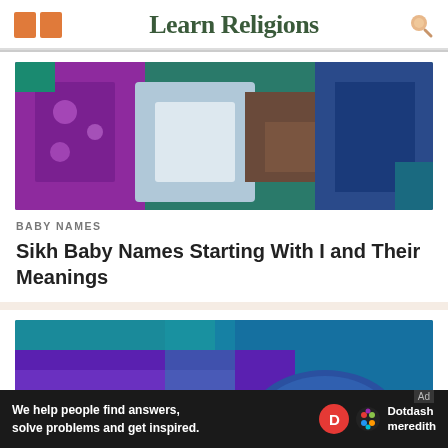Learn Religions
[Figure (photo): Close-up of people in colorful traditional clothing holding a baby]
BABY NAMES
Sikh Baby Names Starting With I and Their Meanings
[Figure (photo): Close-up of a person in vibrant purple traditional attire with decorative embroidery]
We help people find answers, solve problems and get inspired.